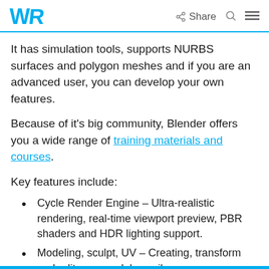WR Share
It has simulation tools, supports NURBS surfaces and polygon meshes and if you are an advanced user, you can develop your own features.
Because of it’s big community, Blender offers you a wide range of training materials and courses.
Key features include:
Cycle Render Engine – Ultra-realistic rendering, real-time viewport preview, PBR shaders and HDR lighting support.
Modeling, sculpt, UV – Creating, transform and edit your models easily.
Advanced sculpting tools and brushes.
3D painting with textured brushes and